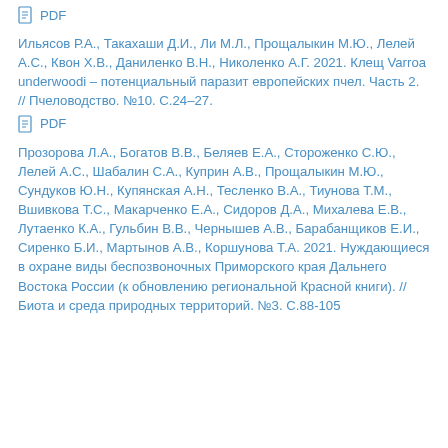PDF
Ильясов Р.А., Такахаши Д.И., Ли М.Л., Прощалыкин М.Ю., Лелей А.С., Квон Х.В., Даниленко В.Н., Николенко А.Г. 2021. Клещ Varroa underwoodi – потенциальный паразит европейских пчел. Часть 2. // Пчеловодство. №10. С.24–27.
PDF
Прозорова Л.А., Богатов В.В., Беляев Е.А., Стороженко С.Ю., Лелей А.С., Шабалин С.А., Куприн А.В., Прощалыкин М.Ю., Сундуков Ю.Н., Купянская А.Н., Тесленко В.А., Тиунова Т.М., Вшивкова Т.С., Макарченко Е.А., Сидоров Д.А., Михалева Е.В., Лутаенко К.А., Гульбин В.В., Чернышев А.В., Барабанщиков Е.И., Сиренко Б.И., Мартынов А.В., Коршунова Т.А. 2021. Нуждающиеся в охране виды беспозвоночных Приморского края Дальнего Востока России (к обновлению региональной Красной книги). // Биота и среда природных территорий. №3. С.88-105